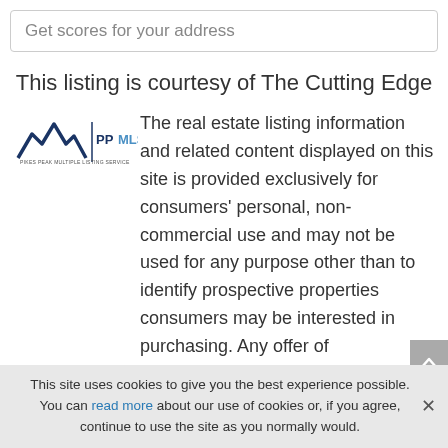Get scores for your address
This listing is courtesy of The Cutting Edge
[Figure (logo): Pikes Peak Multiple Listing Service (PPMLS) logo with mountain icon and PP MLS text]
The real estate listing information and related content displayed on this site is provided exclusively for consumers' personal, non-commercial use and may not be used for any purpose other than to identify prospective properties consumers may be interested in purchasing. Any offer of compensation is made only to Participants of the PPMLS. This information and related content is deemed reliable but is not guaranteed accurate by the Pikes Peak REALTOR® Services Corp.
This site uses cookies to give you the best experience possible. You can read more about our use of cookies or, if you agree, continue to use the site as you normally would.